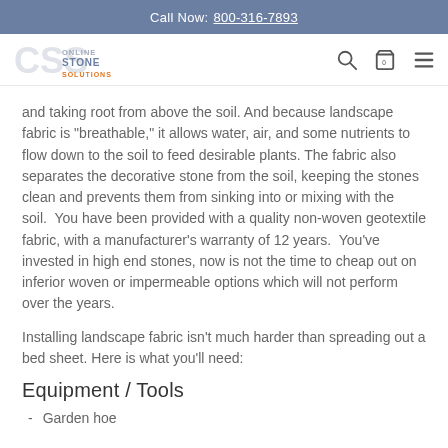Call Now: 800-316-7893
[Figure (logo): Online Stone Solutions logo with CSS letters and orange/gray text]
and taking root from above the soil. And because landscape fabric is "breathable," it allows water, air, and some nutrients to flow down to the soil to feed desirable plants. The fabric also separates the decorative stone from the soil, keeping the stones clean and prevents them from sinking into or mixing with the soil. You have been provided with a quality non-woven geotextile fabric, with a manufacturer's warranty of 12 years. You've invested in high end stones, now is not the time to cheap out on inferior woven or impermeable options which will not perform over the years.
Installing landscape fabric isn't much harder than spreading out a bed sheet. Here is what you'll need:
Equipment / Tools
Garden hoe